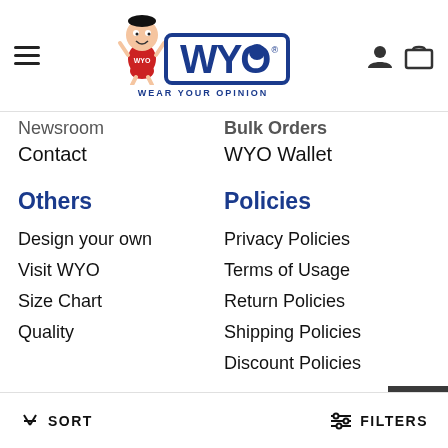WYO - WEAR YOUR OPINION
Newsroom
Bulk Orders
Contact
WYO Wallet
Others
Policies
Design your own
Privacy Policies
Visit WYO
Terms of Usage
Size Chart
Return Policies
Quality
Shipping Policies
Discount Policies
Newsletter
SORT   FILTERS